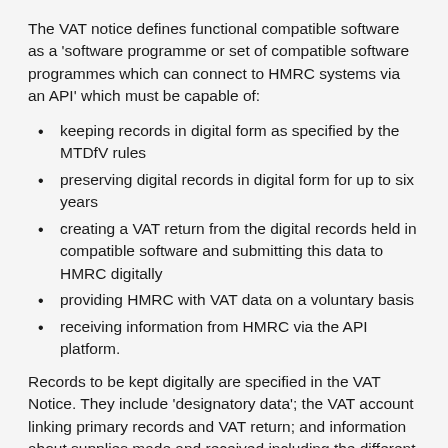The VAT notice defines functional compatible software as a 'software programme or set of compatible software programmes which can connect to HMRC systems via an API' which must be capable of:
keeping records in digital form as specified by the MTDfV rules
preserving digital records in digital form for up to six years
creating a VAT return from the digital records held in compatible software and submitting this data to HMRC digitally
providing HMRC with VAT data on a voluntary basis
receiving information from HMRC via the API platform.
Records to be kept digitally are specified in the VAT Notice. They include 'designatory data'; the VAT account linking primary records and VAT return; and information about supplies made and received including the different rates of VAT applicable. For supplies received, the amount of input tax to be